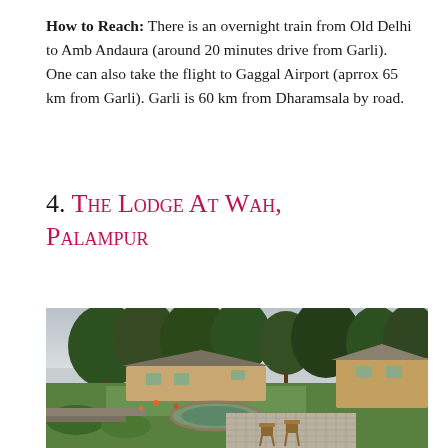How to Reach: There is an overnight train from Old Delhi to Amb Andaura (around 20 minutes drive from Garli). One can also take the flight to Gaggal Airport (aprrox 65 km from Garli). Garli is 60 km from Dharamsala by road.
4. The Lodge At Wah, Palampur
[Figure (photo): Exterior garden view of The Lodge At Wah in Palampur showing lush green trees, manicured garden, a decorative tiled patio with wooden chairs, stonework water feature, and lodge buildings with sloped roofs in the background against an overcast sky.]